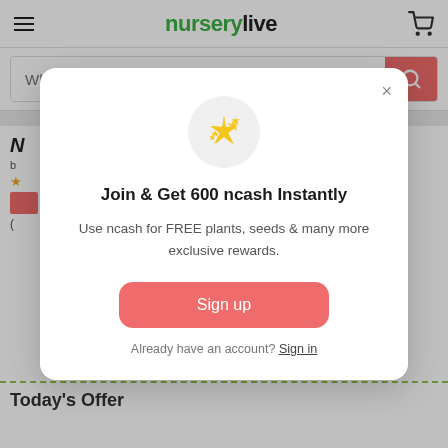nurserylive
What are you looking for?
[Figure (screenshot): Product listing page behind modal overlay showing partial product name, star rating, price, and Today's Offer section]
[Figure (infographic): Modal popup dialog: sparkles icon in gray circle, title 'Join & Get 600 ncash Instantly', description 'Use ncash for FREE plants, seeds & many more exclusive rewards.', Sign up button, 'Already have an account? Sign in' link, and X close button]